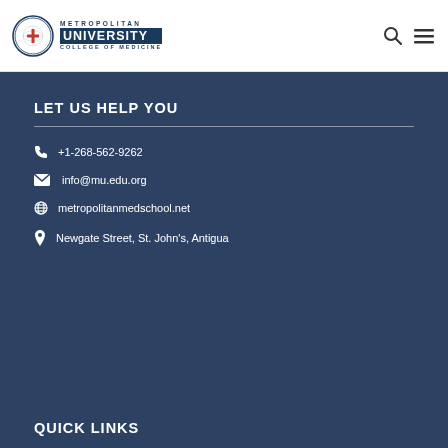[Figure (logo): Metropolitan University College of Medicine logo with circular seal and text]
LET US HELP YOU
+1-268-562-9262
info@mu.edu.org
metropolitanmedschool.net
Newgate Street, St. John's, Antigua
QUICK LINKS